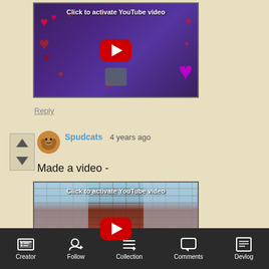[Figure (screenshot): YouTube video thumbnail placeholder with purple/heart background and red play button, labeled 'Click to activate YouTube video']
Reply
[Figure (screenshot): User avatar icon for Spudcats]
Spudcats  4 years ago
Made a video -
[Figure (screenshot): YouTube video thumbnail placeholder with brick wall/poster background and red play button, labeled 'Click to activate YouTube video']
Creator  Follow  Collection  Comments  Devlog